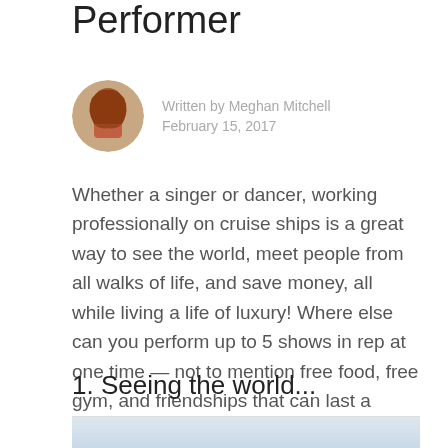Performer
Written by Meghan Mitchell
February 15, 2017
Whether a singer or dancer, working professionally on cruise ships is a great way to see the world, meet people from all walks of life, and save money, all while living a life of luxury! Where else can you perform up to 5 shows in rep at one time — not to mention free food, free gym, and friendships that can last a lifetime?
1. Seeing the world...
[Figure (photo): Partial image visible at the bottom of the page, appears to show sky or light background]